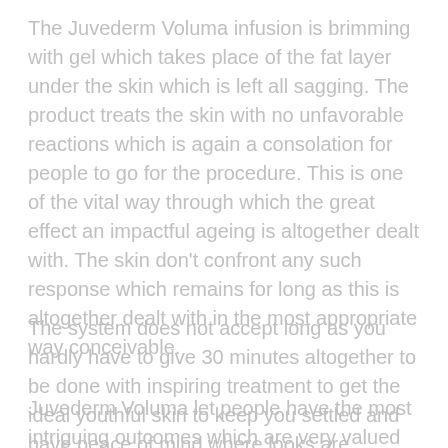The Juvederm Voluma infusion is brimming with gel which takes place of the fat layer under the skin which is left all sagging. The product treats the skin with no unfavorable reactions which is again a consolation for people to go for the procedure. This is one of the vital way through which the great effect an impactful ageing is altogether dealt with. The skin don't confront any such response which remains for long as this is altogether dealt with in the most appropriate way conceivable.
The system does not accept long as you hardly have to give 30 minutes altogether to be done with inspiring treatment to get the ideal youthful skin to keep you settled and have peace of mind where looks are concerned.
Juvederm Voluma let people have the most intriguing outcomes which are very valued by the general people as it is once in a while observed that something good is being